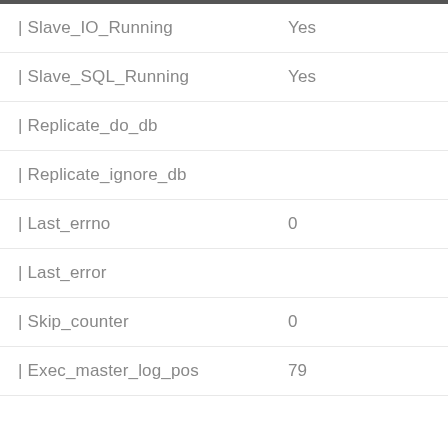| Field | Value |
| --- | --- |
| | Slave_IO_Running | Yes |
| | Slave_SQL_Running | Yes |
| | Replicate_do_db |  |
| | Replicate_ignore_db |  |
| | Last_errno | 0 |
| | Last_error |  |
| | Skip_counter | 0 |
| | Exec_master_log_pos | 79 |